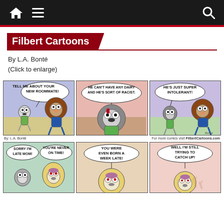Navigation bar with home, menu, and search icons
Filbert Cartoons
By L.A. Bonté
(Click to enlarge)
[Figure (illustration): Three-panel comic strip by L.A. Bonté. Panel 1: Two cartoon characters, one says 'TELL ME ABOUT YOUR NEW ROOMMATE!' Panel 2: One character says 'HE CAN'T HAVE ANY DAIRY AND HE'S SORT OF RACIST.' Panel 3: Character says 'HE'S JUST SUPER INTOLERANT!' Attribution: By: L.A. Bonté | For more comics visit FilbertCartoons.com]
[Figure (illustration): Three-panel comic strip (partially visible). Panel 1: Two characters, one says 'SORRY I'M LATE MOM!' other says 'YOU'RE NEVER ON TIME!' Panel 2: 'YOU WERE EVEN BORN A WEEK LATE!' Panel 3: 'WELL I'M STILL TRYING TO CATCH UP!']